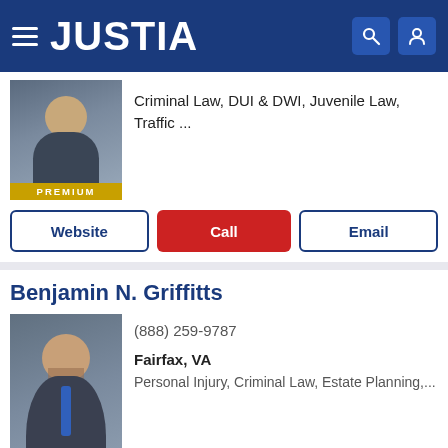[Figure (screenshot): Justia website header with hamburger menu, JUSTIA logo in white on dark blue background, search and user icons]
Criminal Law, DUI & DWI, Juvenile Law, Traffic ...
PREMIUM
Website | Call | Email
Benjamin N. Griffitts
(888) 259-9787
Fairfax, VA
Personal Injury, Criminal Law, Estate Planning,...
PREMIUM
Website | Call | Email
Jamie J. Sack
(703) 883-0102